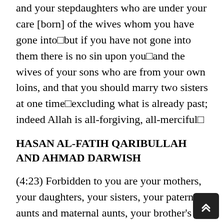and your stepdaughters who are under your care [born] of the wives whom you have gone into□but if you have not gone into them there is no sin upon you□and the wives of your sons who are from your own loins, and that you should marry two sisters at one time□excluding what is already past; indeed Allah is all-forgiving, all-merciful□
HASAN AL-FATIH QARIBULLAH AND AHMAD DARWISH
(4:23) Forbidden to you are your mothers, your daughters, your sisters, your paternal aunts and maternal aunts, your brother's daughters, your sister's daughters, your mothers who have given suck to you, your suckling sisters, your wives mothers, and your stepdaughters who are in your care from your wives with whom you have